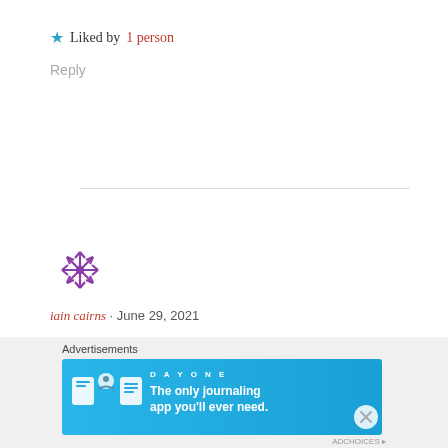★ Liked by 1 person
Reply
[Figure (illustration): Purple snowflake/asterisk avatar icon for user iain cairns]
iain cairns · June 29, 2021
Too little and way too late, I left Nikon years
Advertisements
[Figure (infographic): DAY ONE app advertisement banner: 'The only journaling app you'll ever need.' with app icons on blue background]